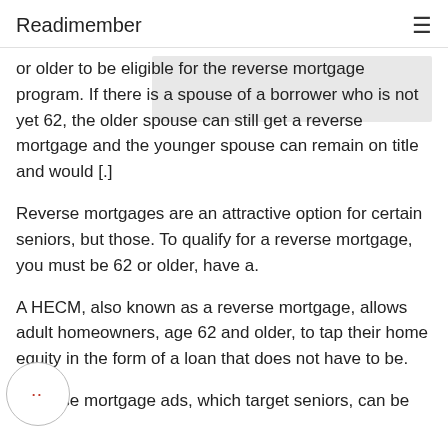Readimember
or older to be eligible for the reverse mortgage program. If there is a spouse of a borrower who is not yet 62, the older spouse can still get a reverse mortgage and the younger spouse can remain on title and would [.]
Reverse mortgages are an attractive option for certain seniors, but those. To qualify for a reverse mortgage, you must be 62 or older, have a.
A HECM, also known as a reverse mortgage, allows adult homeowners, age 62 and older, to tap their home equity in the form of a loan that does not have to be.
Reverse mortgage ads, which target seniors, can be